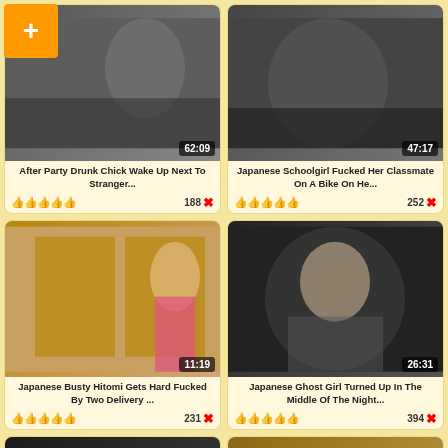[Figure (screenshot): Video thumbnail grid showing adult video website with 6 video cards in a 2-column layout. Card 1: After Party Drunk Chick Wake Up Next To Stranger... 62:09, 188 likes. Card 2: Japanese Schoolgirl Fucked Her Classmate On A Bike On He... 47:17, 252 likes. Card 3: Japanese Busty Hitomi Gets Hard Fucked By Two Delivery ... 11:19, 231 likes. Card 4: Japanese Ghost Girl Turned Up In The Middle Of The Night... 26:31, 394 likes. Card 5 & 6: partially visible thumbnails at bottom. Orange plus button in top-left corner.]